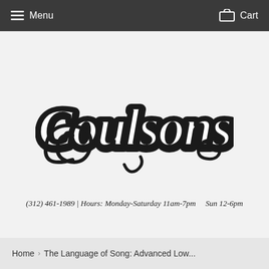Menu   Cart
[Figure (logo): Coulsons stylized script logo in black and white with decorative swirls]
(312) 461-1989 | Hours: Monday-Saturday 11am-7pm    Sun 12-6pm
Home  >  The Language of Song: Advanced Low...